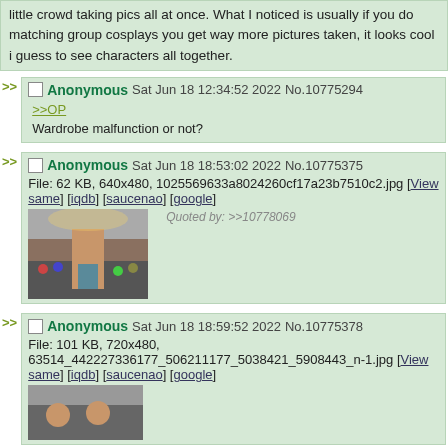little crowd taking pics all at once. What I noticed is usually if you do matching group cosplays you get way more pictures taken, it looks cool i guess to see characters all together.
>> Anonymous Sat Jun 18 12:34:52 2022 No.10775294
>>OP
Wardrobe malfunction or not?
>> Anonymous Sat Jun 18 18:53:02 2022 No.10775375
File: 62 KB, 640x480, 1025569633a8024260cf17a23b7510c2.jpg [View same] [iqdb] [saucenao] [google]
Quoted by: >>10778069
[Figure (photo): Photo of a woman in costume seen from behind with a crowd at what appears to be a convention]
>> Anonymous Sat Jun 18 18:59:52 2022 No.10775378
File: 101 KB, 720x480, 63514_442227336177_506211177_5038421_5908443_n-1.jpg [View same] [iqdb] [saucenao] [google]
[Figure (photo): Partial thumbnail of photo at bottom of page]